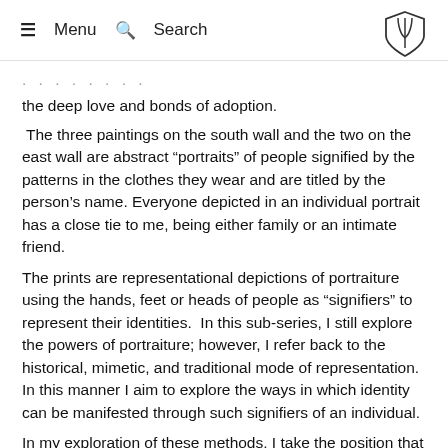≡ Menu  🔍 Search
the deep love and bonds of adoption.
The three paintings on the south wall and the two on the east wall are abstract "portraits" of people signified by the patterns in the clothes they wear and are titled by the person's name. Everyone depicted in an individual portrait has a close tie to me, being either family or an intimate friend.
The prints are representational depictions of portraiture using the hands, feet or heads of people as "signifiers" to represent their identities.  In this sub-series, I still explore the powers of portraiture; however, I refer back to the historical, mimetic, and traditional mode of representation. In this manner I aim to explore the ways in which identity can be manifested through such signifiers of an individual.
In my exploration of these methods, I take the position that abstract painting can still express deeply personal ideas, like embracing the trans-formative and deeply loving nature of